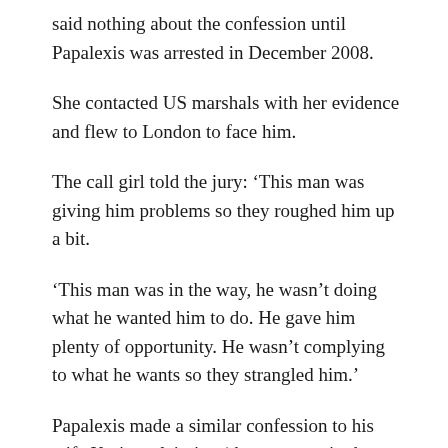said nothing about the confession until Papalexis was arrested in December 2008.
She contacted US marshals with her evidence and flew to London to face him.
The call girl told the jury: ‘This man was giving him problems so they roughed him up a bit.
‘This man was in the way, he wasn’t doing what he wanted him to do. He gave him plenty of opportunity. He wasn’t complying to what he wants so they strangled him.’
Papalexis made a similar confession to his wife Karina, claiming ‘the man was in the way’ and to his privately-hired bodyguard, a former US Navy SEAL.
On a Wikipedia page that Papalexis created about himself